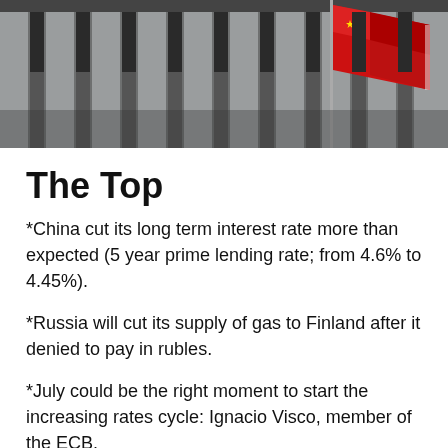[Figure (photo): A red flag waving in front of a building with tall stone or concrete columns, photographed from below at an angle.]
The Top
*China cut its long term interest rate more than expected (5 year prime lending rate; from 4.6% to 4.45%).
*Russia will cut its supply of gas to Finland after it denied to pay in rubles.
*July could be the right moment to start the increasing rates cycle: Ignacio Visco, member of the ECB.